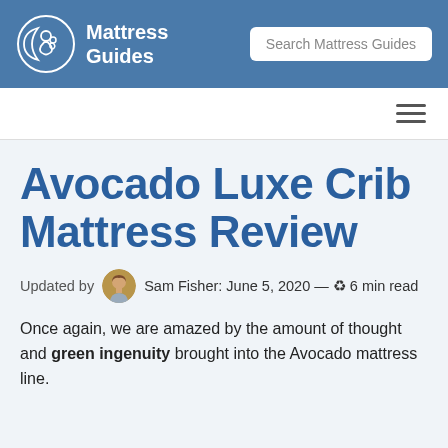Mattress Guides | Search Mattress Guides
Avocado Luxe Crib Mattress Review
Updated by Sam Fisher: June 5, 2020 — 6 min read
Once again, we are amazed by the amount of thought and green ingenuity brought into the Avocado mattress line.